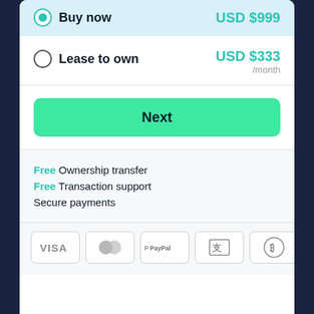Buy now — USD $999
Lease to own — USD $333 /month
Next
Free Ownership transfer
Free Transaction support
Secure payments
[Figure (other): Payment method icons: VISA, Mastercard, PayPal, Alipay, Bitcoin]